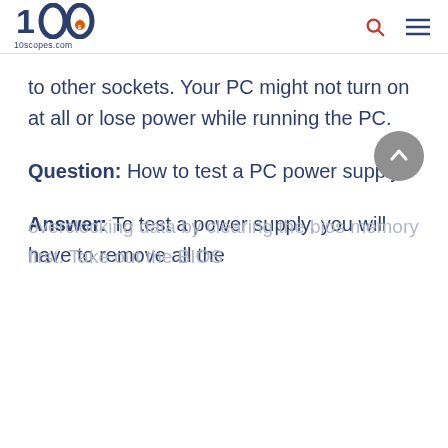10scopes.com
to other sockets. Your PC might not turn on at all or lose power while running the PC.
Question: How to test a PC power supply?
Answer: To test a power supply, you will have to remove all the
overclocking data by clearing the bios memory first. Take out the BIOS